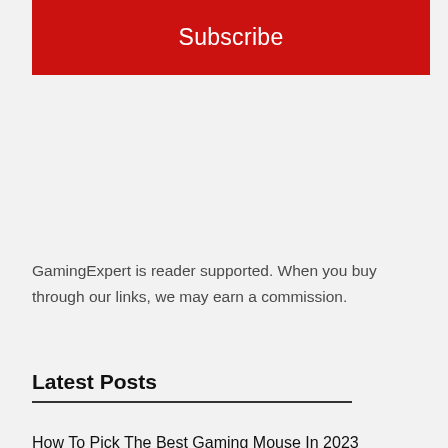[Figure (other): Red Subscribe button banner]
GamingExpert is reader supported. When you buy through our links, we may earn a commission.
Latest Posts
How To Pick The Best Gaming Mouse In 2023